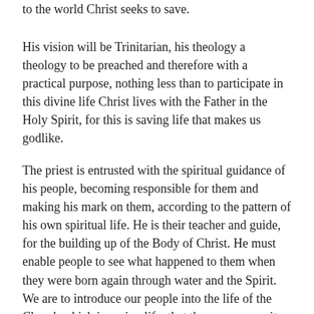to the world Christ seeks to save.
His vision will be Trinitarian, his theology a theology to be preached and therefore with a practical purpose, nothing less than to participate in this divine life Christ lives with the Father in the Holy Spirit, for this is saving life that makes us godlike.
The priest is entrusted with the spiritual guidance of his people, becoming responsible for them and making his mark on them, according to the pattern of his own spiritual life. He is their teacher and guide, for the building up of the Body of Christ. He must enable people to see what happened to them when they were born again through water and the Spirit. We are to introduce our people into the life of the Church which is saving life, that they may grasp its meaning, its contents and purpose, to taste and see how good the Lord is. First, taste then see, that is, understand. This is edification in the knowledge of the love of God, growth into the divine likeness. A priest is the